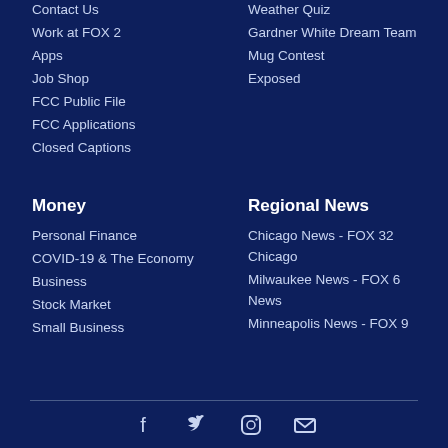Contact Us
Work at FOX 2
Apps
Job Shop
FCC Public File
FCC Applications
Closed Captions
Weather Quiz
Gardner White Dream Team
Mug Contest
Exposed
Money
Personal Finance
COVID-19 & The Economy
Business
Stock Market
Small Business
Regional News
Chicago News - FOX 32 Chicago
Milwaukee News - FOX 6 News
Minneapolis News - FOX 9
[Figure (illustration): Social media icons: Facebook, Twitter, Instagram, Email]